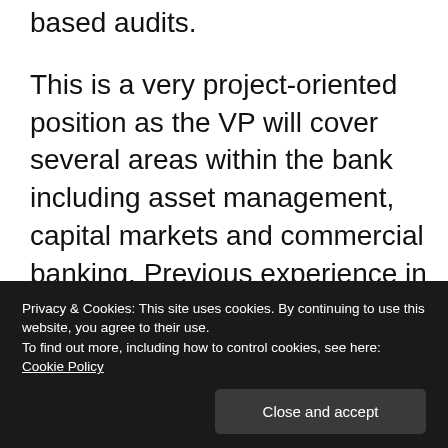based audits.

This is a very project-oriented position as the VP will cover several areas within the bank including asset management, capital markets and commercial banking. Previous experience in only 1 of these areas is requires. The firm is looking for someone who can not only manage a team but face off and collaborate with senior level stakeholders of each of these businesses. This is a big hire for the group with a ton of exposure to multiple businesses.
Privacy & Cookies: This site uses cookies. By continuing to use this website, you agree to their use. To find out more, including how to control cookies, see here: Cookie Policy
Close and accept
Responsibilities